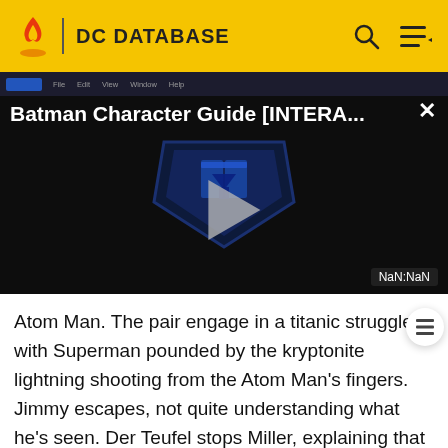DC DATABASE
[Figure (screenshot): Video player showing 'Batman Character Guide [INTERA...' with a Justice League shield logo and play button. Timer shows NaN:NaN.]
Atom Man. The pair engage in a titanic struggle, with Superman pounded by the kryptonite lightning shooting from the Atom Man's fingers. Jimmy escapes, not quite understanding what he's seen. Der Teufel stops Miller, explaining that he may exhaust his